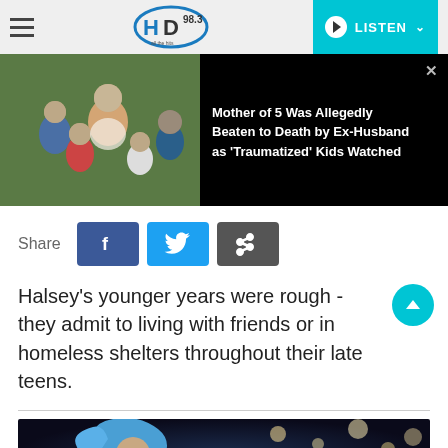HD 98.3 — LISTEN
[Figure (screenshot): News banner showing a woman with children (faces blurred) on the left, and headline text on black background on the right. Headline: Mother of 5 Was Allegedly Beaten to Death by Ex-Husband as 'Traumatized' Kids Watched]
Share
[Figure (infographic): Share buttons: Facebook (blue), Twitter (cyan), Link (dark grey)]
Halsey's younger years were rough - they admit to living with friends or in homeless shelters throughout their late teens.
[Figure (photo): Partially visible photo of a performer with blue hair on stage with bokeh lights in background]